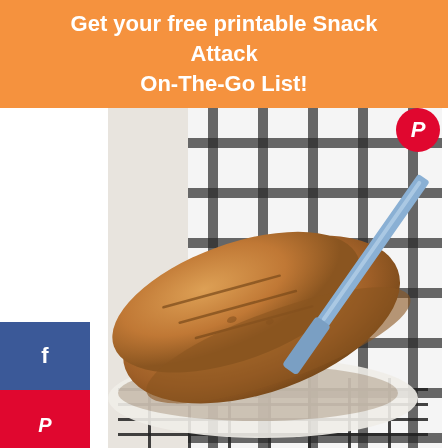Get your free printable Snack Attack On-The-Go List!
[Figure (photo): A golden-brown baked bread loaf with scored top sitting on a wire cooling rack with a white and black plaid cloth underneath and a blue bread knife to the right]